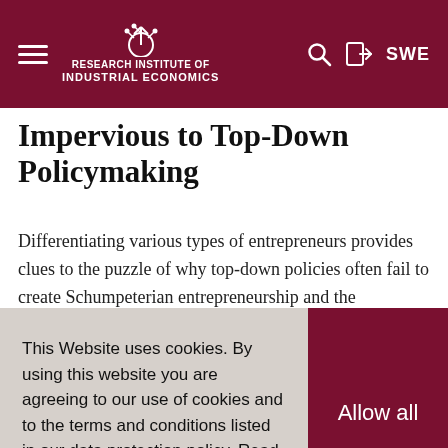Research Institute of Industrial Economics — SWE
Impervious to Top-Down Policymaking
Differentiating various types of entrepreneurs provides clues to the puzzle of why top-down policies often fail to create Schumpeterian entrepreneurship and the ecosystems where it thrives. Schumpeter...
This Website uses cookies. By using this website you are agreeing to our use of cookies and to the terms and conditions listed in our data protection policy. Read more
Allow all
Professor
lars.oxelheim@ifn.se